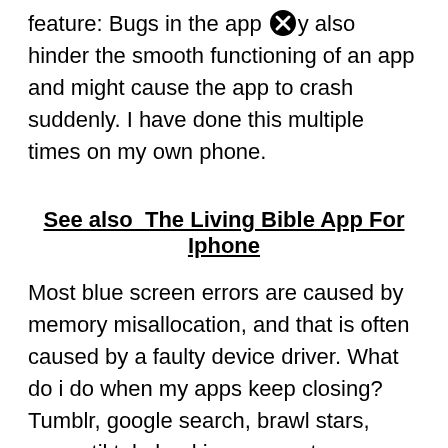feature: Bugs in the app may also hinder the smooth functioning of an app and might cause the app to crash suddenly. I have done this multiple times on my own phone.
See also  The Living Bible App For Iphone
Most blue screen errors are caused by memory misallocation, and that is often caused by a faulty device driver. What do i do when my apps keep closing? Tumblr, google search, brawl stars, waze, tiktok, banking apps, etc.
It's a feature of the phone to clear ram if needed which is accomplished by closing down suspended apps. That also is one of the reasons why apps